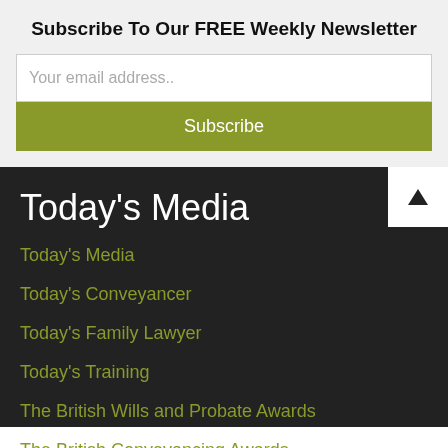Subscribe To Our FREE Weekly Newsletter
Your email address..
Subscribe
Today's Media
Today's Media
Today's Conveyancer
Today's Family Lawyer
Today's Training
The British Wills and Probate Awards
The British Conveyancing Awards